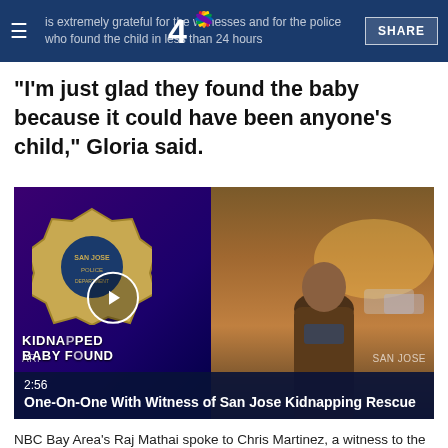is extremely grateful for the witnesses and for the police who found the child in less than 24 hours
"I'm just glad they found the baby because it could have been anyone's child," Gloria said.
[Figure (screenshot): NBC Bay Area news video thumbnail showing split screen: left side has San Jose police badge graphic with play button overlay and text 'KIDNAPPED BABY FOUND', right side shows man being interviewed outdoors at golden hour. Duration 2:56. Title: One-On-One With Witness of San Jose Kidnapping Rescue. Location labels: ARI (left) and SAN JOSE (right).]
NBC Bay Area's Raj Mathai spoke to Chris Martinez, a witness to the rescue of a 3-month-old baby who was kidnapped in San Jose,